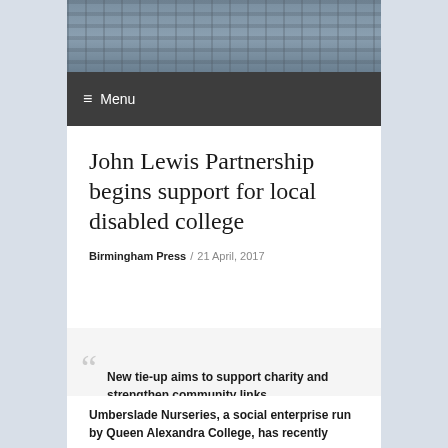[Figure (photo): Aerial or street-level photograph of urban buildings, shown as a banner image at the top of a news website]
≡ Menu
John Lewis Partnership begins support for local disabled college
Birmingham Press / 21 April, 2017
New tie-up aims to support charity and strengthen community links.
Umberslade Nurseries, a social enterprise run by Queen Alexandra College, has recently